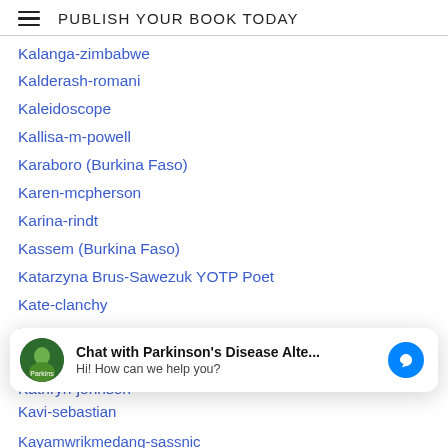PUBLISH YOUR BOOK TODAY
Kalanga-zimbabwe
Kalderash-romani
Kaleidoscope
Kallisa-m-powell
Karaboro (Burkina Faso)
Karen-mcpherson
Karina-rindt
Kassem (Burkina Faso)
Katarzyna Brus-Sawezuk YOTP Poet
Kate-clanchy
Kate-peterson
Katherine-wyatt
Kathryn-johnson
Kathryn-locey
Chat with Parkinson's Disease Alte... Hi! How can we help you?
Kavi-sebastian
Kayamwrikmedang-sassnic